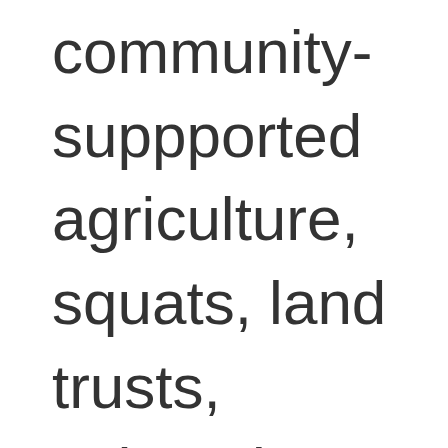community-suppported agriculture, squats, land trusts, cohousing projects, eco-villages and